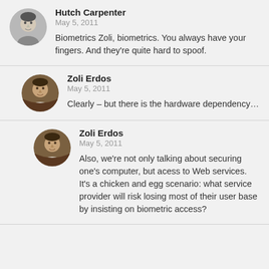[Figure (photo): Round avatar photo of Hutch Carpenter, black and white, male face]
Hutch Carpenter
May 5, 2011
Biometrics Zoli, biometrics. You always have your fingers. And they're quite hard to spoof.
[Figure (photo): Round avatar photo of Zoli Erdos, color, male face]
Zoli Erdos
May 5, 2011
Clearly – but there is the hardware dependency...
[Figure (photo): Round avatar photo of Zoli Erdos, color, male face]
Zoli Erdos
May 5, 2011
Also, we're not only talking about securing one's computer, but acess to Web services. It's a chicken and egg scenario: what service provider will risk losing most of their user base by insisting on biometric access?